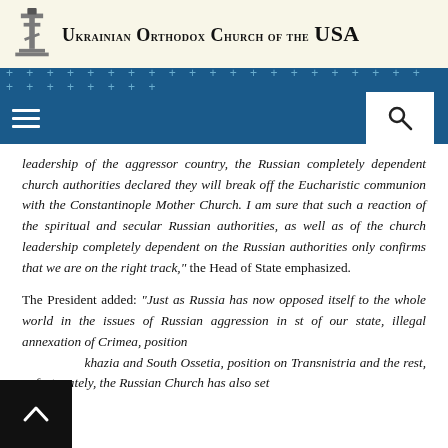Ukrainian Orthodox Church of the USA
leadership of the aggressor country, the Russian completely dependent church authorities declared they will break off the Eucharistic communion with the Constantinople Mother Church. I am sure that such a reaction of the spiritual and secular Russian authorities, as well as of the church leadership completely dependent on the Russian authorities only confirms that we are on the right track," the Head of State emphasized.
The President added: "Just as Russia has now opposed itself to the whole world in the issues of Russian aggression in [the] interest of our state, illegal annexation of Crimea, position on Abkhazia and South Ossetia, position on Transnistria and the rest, unfortunately, the Russian Church has also set